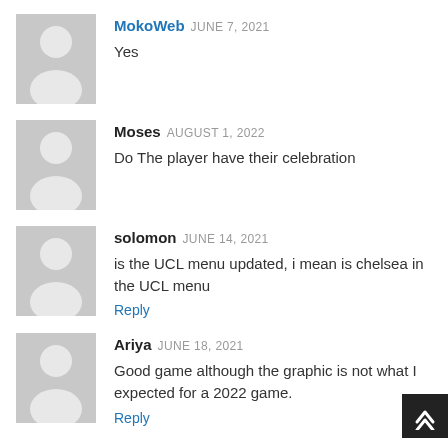MokoWeb JUNE 7, 2021
Yes
Moses AUGUST 1, 2022
Do The player have their celebration
solomon JUNE 14, 2021
is the UCL menu updated, i mean is chelsea in the UCL menu
Reply
Ariya JUNE 18, 2021
Good game although the graphic is not what I expected for a 2022 game.
Reply